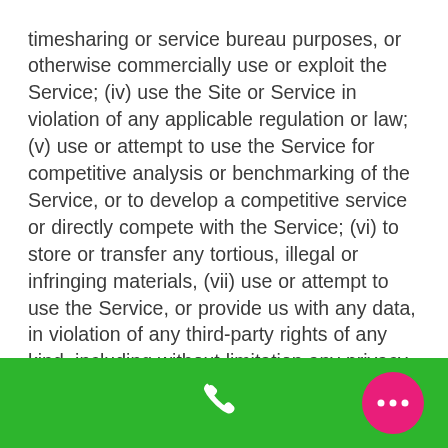timesharing or service bureau purposes, or otherwise commercially use or exploit the Service; (iv) use the Site or Service in violation of any applicable regulation or law; (v) use or attempt to use the Service for competitive analysis or benchmarking of the Service, or to develop a competitive service or directly compete with the Service; (vi) to store or transfer any tortious, illegal or infringing materials, (vii) use or attempt to use the Service, or provide us with any data, in violation of any third-party rights of any kind, including without limitation any privacy, intellectual property, confidentiality or contractual rights, (viii) to transfer any viruses, worms, trojans or other items of a similarly destructive nature
[Figure (other): Green navigation footer bar with a white phone icon in the center and a pink/magenta circular chat bubble icon with three dots on the right]